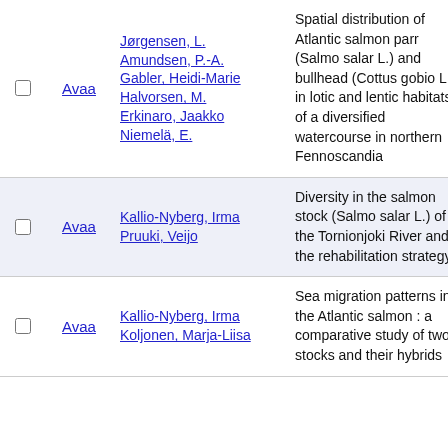|  | Avaa | Authors | Title | Link |
| --- | --- | --- | --- | --- |
| ☐ | Avaa | Jørgensen, L.
Amundsen, P.-A.
Gabler, Heidi-Marie
Halvorsen, M.
Erkinaro, Jaakko
Niemelä, E. | Spatial distribution of Atlantic salmon parr (Salmo salar L.) and bullhead (Cottus gobio L.) in lotic and lentic habitats of a diversified watercourse in northern Fennoscandia | li |
| ☐ | Avaa | Kallio-Nyberg, Irma
Pruuki, Veijo | Diversity in the salmon stock (Salmo salar L.) of the Tornionjoki River and the rehabilitation strategy |  |
| ☐ | Avaa | Kallio-Nyberg, Irma
Koljonen, Marja-Liisa | Sea migration patterns in the Atlantic salmon : a comparative study of two stocks and their hybrids | li |